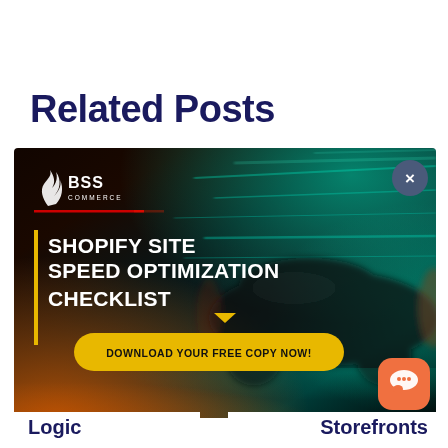Related Posts
[Figure (photo): BSS Commerce advertisement banner for 'Shopify Site Speed Optimization Checklist' with a blurred motion car background in teal and orange tones. Features BSS Commerce logo, bold white heading text, a yellow vertical bar accent, a download button, close button (x), and a chat button. Text reads: SHOPIFY SITE SPEED OPTIMIZATION CHECKLIST / DOWNLOAD YOUR FREE COPY NOW!]
Logic
Storefronts